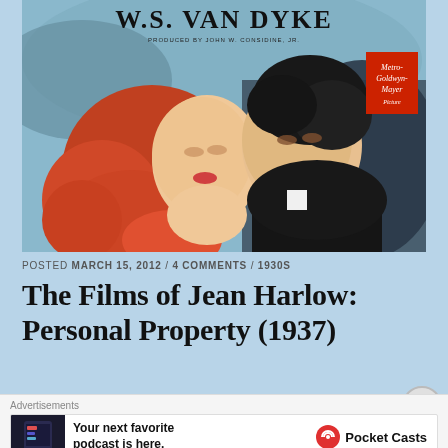[Figure (photo): Vintage movie poster for a W.S. Van Dyke film, produced by John W. Considine Jr., a Metro-Goldwyn-Mayer picture. Shows a red-haired woman and a dark-haired man about to kiss, illustrated in classic 1930s Hollywood style. The MGM lion badge is visible in the upper right.]
POSTED MARCH 15, 2012 / 4 COMMENTS / 1930S
The Films of Jean Harlow: Personal Property (1937)
[Figure (other): Advertisement: 'Your next favorite podcast is here.' with Pocket Casts branding and logo. Shows a dark phone screen on the left.]